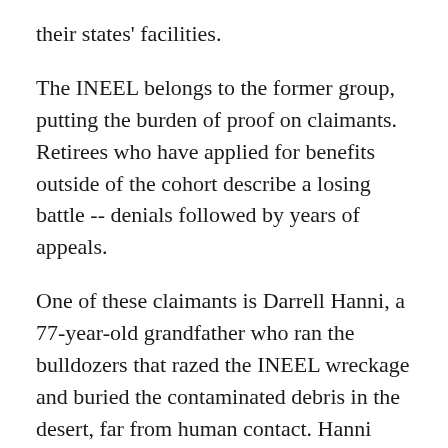their states' facilities.
The INEEL belongs to the former group, putting the burden of proof on claimants. Retirees who have applied for benefits outside of the cohort describe a losing battle -- denials followed by years of appeals.
One of these claimants is Darrell Hanni, a 77-year-old grandfather who ran the bulldozers that razed the INEEL wreckage and buried the contaminated debris in the desert, far from human contact. Hanni started that job on July 1, 1961. He finished on July 1, 1962. He said his records show that he got nearly 70 times the average American's annual radiation during that year. According to the Department of Energy's guidelines, a nuclear employee's acceptable dose of radiation in a